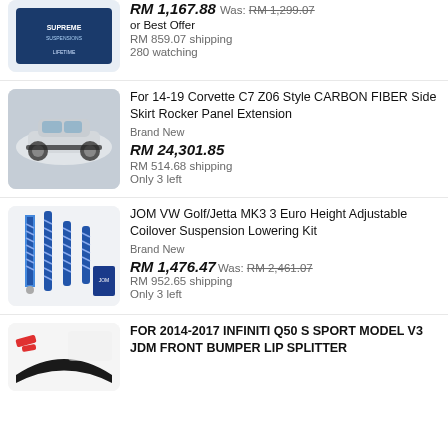[Figure (photo): Top partial listing: Supreme Suspensions product box with blue branding and lifetime guarantee logo]
RM 1,167.88  Was: RM 1,299.07
or Best Offer
RM 859.07 shipping
280 watching
[Figure (photo): Silver Corvette C7 showing carbon fiber side skirt rocker panel extension on the car]
For 14-19 Corvette C7 Z06 Style CARBON FIBER Side Skirt Rocker Panel Extension
Brand New
RM 24,301.85
RM 514.68 shipping
Only 3 left
[Figure (photo): JOM blue coilover suspension set with four shock absorbers and springs laid out with packaging boxes]
JOM VW Golf/Jetta MK3 3 Euro Height Adjustable Coilover Suspension Lowering Kit
Brand New
RM 1,476.47  Was: RM 2,461.07
RM 952.65 shipping
Only 3 left
[Figure (photo): Black front bumper lip splitter for Infiniti Q50 with red accent highlights on white background]
FOR 2014-2017 INFINITI Q50 S SPORT MODEL V3 JDM FRONT BUMPER LIP SPLITTER